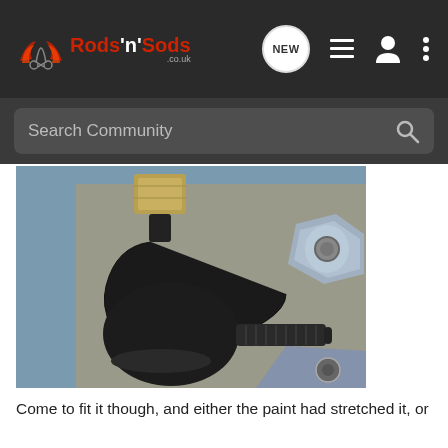Rods'n'Sods .co.uk — Navigation bar with NEW, list, user, menu icons and Search Community bar
[Figure (photo): Close-up photo of automotive steering parts: a black tie rod end with threaded stud and a hex nut on top, plus metallic nuts and a bracket on a grey cardboard background]
Come to fit it though, and either the paint had stretched it, or